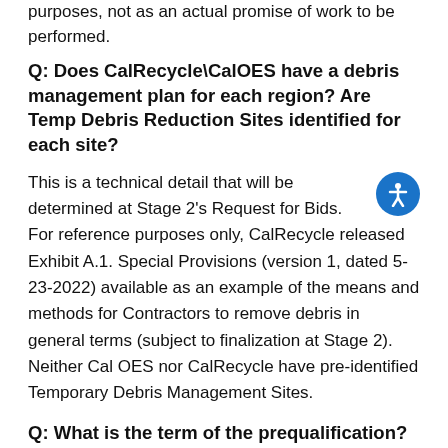purposes, not as an actual promise of work to be performed.
Q: Does CalRecycle\CalOES have a debris management plan for each region? Are Temp Debris Reduction Sites identified for each site?
This is a technical detail that will be determined at Stage 2's Request for Bids. For reference purposes only, CalRecycle released Exhibit A.1. Special Provisions (version 1, dated 5-23-2022) available as an example of the means and methods for Contractors to remove debris in general terms (subject to finalization at Stage 2). Neither Cal OES nor CalRecycle have pre-identified Temporary Debris Management Sites.
Q: What is the term of the prequalification? How